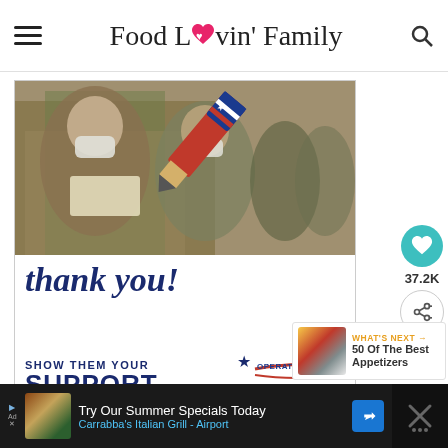Food Lovin' Family
[Figure (photo): Military personnel wearing masks and camouflage uniforms reviewing papers, with a graphic overlay showing 'thank you!' in script, 'SHOW THEM YOUR SUPPORT' text, a pencil shaped like an American flag, and Operation Gratitude logo]
37.2K
WHAT'S NEXT → 50 Of The Best Appetizers
Try Our Summer Specials Today Carrabba's Italian Grill - Airport